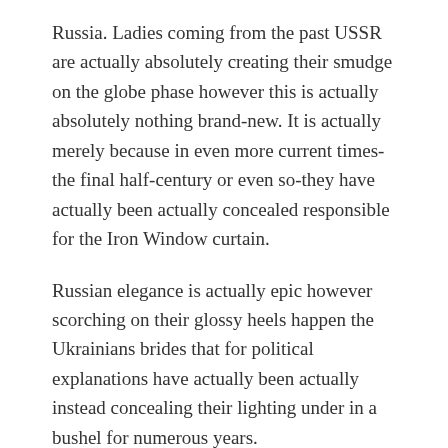Russia. Ladies coming from the past USSR are actually absolutely creating their smudge on the globe phase however this is actually absolutely nothing brand-new. It is actually merely because in even more current times-the final half-century or even so-they have actually been actually concealed responsible for the Iron Window curtain.
Russian elegance is actually epic however scorching on their glossy heels happen the Ukrainians brides that for political explanations have actually been actually instead concealing their lighting under in a bushel for numerous years.
The determining